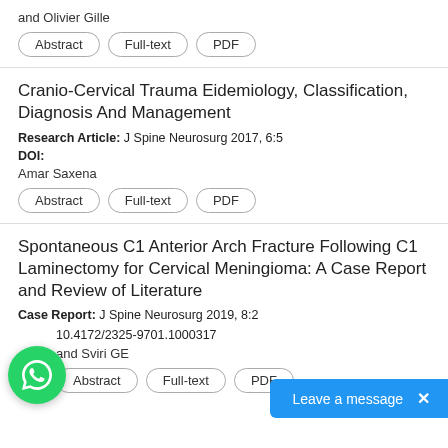and Olivier Gille
Abstract | Full-text | PDF
Cranio-Cervical Trauma Eidemiology, Classification, Diagnosis And Management
Research Article: J Spine Neurosurg 2017, 6:5
DOI:
Amar Saxena
Abstract | Full-text | PDF
Spontaneous C1 Anterior Arch Fracture Following C1 Laminectomy for Cervical Meningioma: A Case Report and Review of Literature
Case Report: J Spine Neurosurg 2019, 8:2
10.4172/2325-9701.1000317
and Sviri GE
Abstract | Full-text | PDF